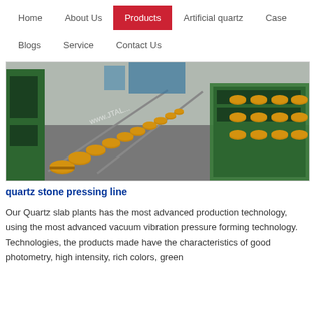Home | About Us | Products | Artificial quartz | Case | Blogs | Service | Contact Us
[Figure (photo): Factory conveyor line with yellow rollers on metal frames, green machinery visible, industrial quartz stone pressing line equipment]
quartz stone pressing line
Our Quartz slab plants has the most advanced production technology, using the most advanced vacuum vibration pressure forming technology. Technologies, the products made have the characteristics of good photometry, high intensity, rich colors, green